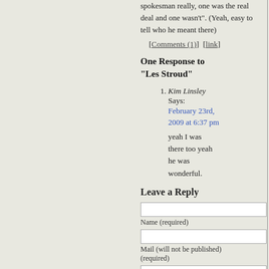spokesman really, one was the real deal and one wasn't". (Yeah, easy to tell who he meant there)
[Comments (1)]  [link]
One Response to “Les Stroud”
Kim Linsley Says: February 23rd, 2009 at 6:37 pm
yeah I was there too yeah he was wonderful.
Leave a Reply
Name (required)
Mail (will not be published) (required)
Website